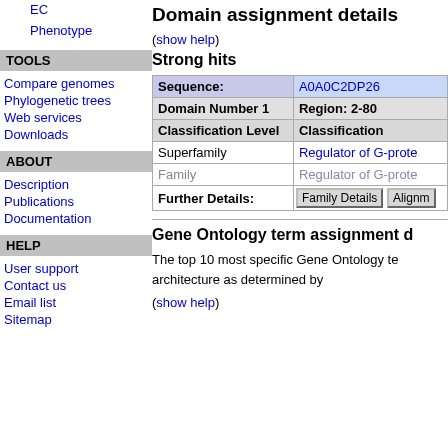EC
Phenotype
TOOLS
Compare genomes
Phylogenetic trees
Web services
Downloads
ABOUT
Description
Publications
Documentation
HELP
User support
Contact us
Email list
Sitemap
Domain assignment details
(show help)
Strong hits
| Sequence: | A0A0C2DP26 |
| --- | --- |
| Domain Number 1 | Region: 2-80 |
| Classification Level | Classification |
| Superfamily | Regulator of G-prote... |
| Family | Regulator of G-prote... |
| Further Details: | Family Details | Alignm... |
Gene Ontology term assignment d
The top 10 most specific Gene Ontology te... architecture as determined by
(show help)